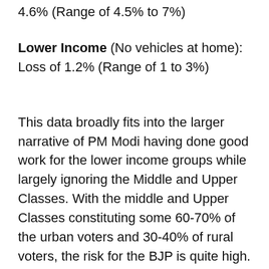4.6% (Range of 4.5% to 7%)
Lower Income (No vehicles at home): Loss of 1.2% (Range of 1 to 3%)
This data broadly fits into the larger narrative of PM Modi having done good work for the lower income groups while largely ignoring the Middle and Upper Classes. With the middle and Upper Classes constituting some 60-70% of the urban voters and 30-40% of rural voters, the risk for the BJP is quite high. Today's budget could change the tide if the BJP goes beyond reservations to come up with something